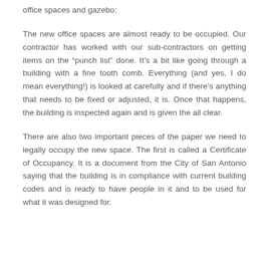office spaces and gazebo:
The new office spaces are almost ready to be occupied. Our contractor has worked with our sub-contractors on getting items on the “punch list” done. It’s a bit like going through a building with a fine tooth comb. Everything (and yes, I do mean everything!) is looked at carefully and if there’s anything that needs to be fixed or adjusted, it is. Once that happens, the building is inspected again and is given the all clear.
There are also two important pieces of the paper we need to legally occupy the new space. The first is called a Certificate of Occupancy. It is a document from the City of San Antonio saying that the building is in compliance with current building codes and is ready to have people in it and to be used for what it was designed for.